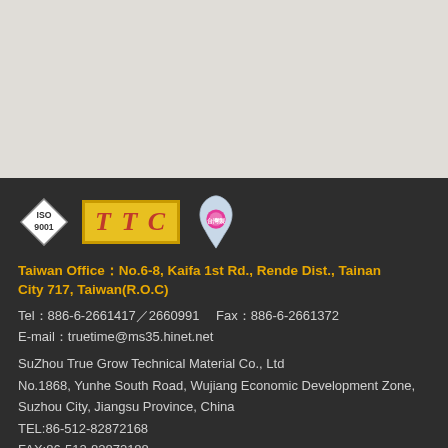[Figure (logo): ISO 9001 diamond logo, TTC logo in yellow/red, Taiwan map logo]
Taiwan Office：No.6-8, Kaifa 1st Rd., Rende Dist., Tainan City 717, Taiwan(R.O.C)
Tel：886-6-2661417／2660991　Fax：886-6-2661372
E-mail：truetime@ms35.hinet.net
SuZhou True Grow Technical Material Co., Ltd
No.1868, Yunhe South Road, Wujiang Economic Development Zone,
Suzhou City, Jiangsu Province, China
TEL:86-512-82872168
FAX:86-512-82872188
WEB : www.truetime.com.cn
Mail : truetime@163.com